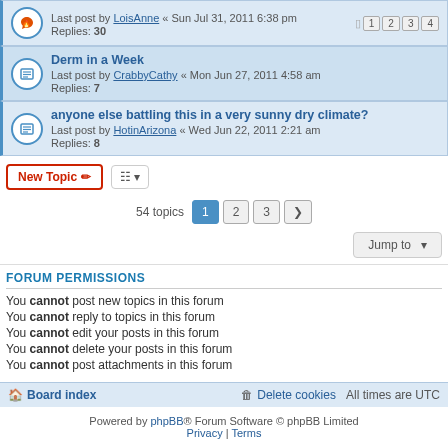Last post by LoisAnne « Sun Jul 31, 2011 6:38 pm
Replies: 30
Derm in a Week
Last post by CrabbyCathy « Mon Jun 27, 2011 4:58 am
Replies: 7
anyone else battling this in a very sunny dry climate?
Last post by HotinArizona « Wed Jun 22, 2011 2:21 am
Replies: 8
54 topics
FORUM PERMISSIONS
You cannot post new topics in this forum
You cannot reply to topics in this forum
You cannot edit your posts in this forum
You cannot delete your posts in this forum
You cannot post attachments in this forum
Board index | Delete cookies | All times are UTC
Powered by phpBB® Forum Software © phpBB Limited
Privacy | Terms